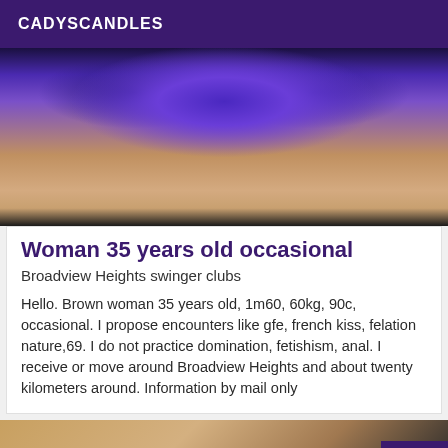CADYSCANDLES
[Figure (photo): Partial photo of person wearing a purple/blue bra, torso view, orange background]
Woman 35 years old occasional
Broadview Heights swinger clubs
Hello. Brown woman 35 years old, 1m60, 60kg, 90c, occasional. I propose encounters like gfe, french kiss, felation nature,69. I do not practice domination, fetishism, anal. I receive or move around Broadview Heights and about twenty kilometers around. Information by mail only
[Figure (photo): Partial photo, bottom of page, with Verified badge in purple]